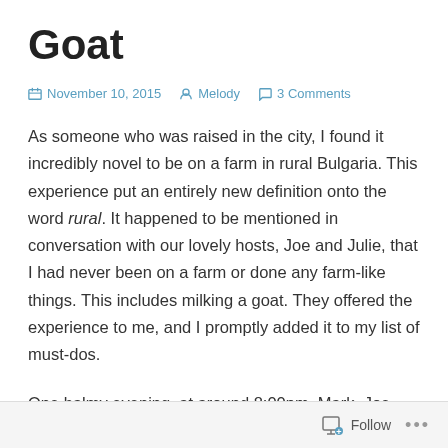Goat
November 10, 2015  Melody  3 Comments
As someone who was raised in the city, I found it incredibly novel to be on a farm in rural Bulgaria. This experience put an entirely new definition onto the word rural. It happened to be mentioned in conversation with our lovely hosts, Joe and Julie, that I had never been on a farm or done any farm-like things. This includes milking a goat. They offered the experience to me, and I promptly added it to my list of must-dos.
One balmy evening, at around 8:00pm, Mark, Joe and I set off in the car to meet their friend with the goats. I shall call him Tony because I forgot his name. We arrive to Tony's house and he
Follow ...